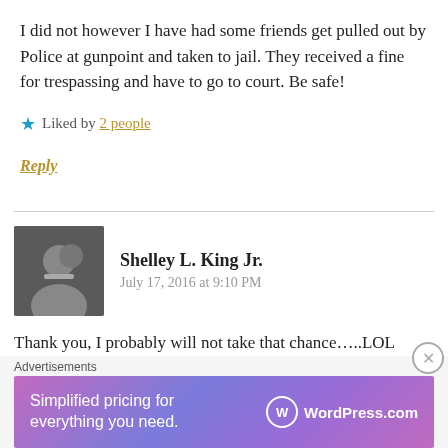I did not however I have had some friends get pulled out by Police at gunpoint and taken to jail. They received a fine for trespassing and have to go to court. Be safe!
Liked by 2 people
Reply
Shelley L. King Jr.
July 17, 2016 at 9:10 PM
Thank you, I probably will not take that chance…..LOL
Advertisements
Simplified pricing for everything you need. WordPress.com